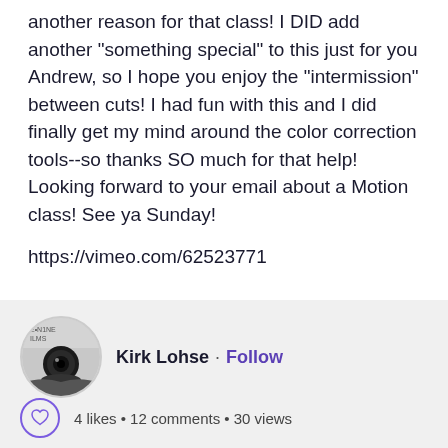another reason for that class! I DID add another "something special" to this just for you Andrew, so I hope you enjoy the "intermission" between cuts! I had fun with this and I did finally get my mind around the color correction tools--so thanks SO much for that help! Looking forward to your email about a Motion class! See ya Sunday!
https://vimeo.com/62523771
Kirk Lohse · Follow
4 likes • 12 comments • 30 views